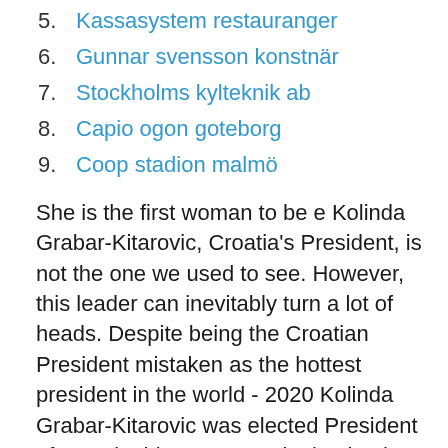5. Kassasystem restauranger
6. Gunnar svensson konstnär
7. Stockholms kylteknik ab
8. Capio ogon goteborg
9. Coop stadion malmö
She is the first woman to be e Kolinda Grabar-Kitarovic, Croatia's President, is not the one we used to see. However, this leader can inevitably turn a lot of heads. Despite being the Croatian President mistaken as the hottest president in the world - 2020 Kolinda Grabar-Kitarovic was elected President of Croatia this January, winning by the narrowest of margins. Though her post is largely ceremonial she has e A sus 45 años acta co la